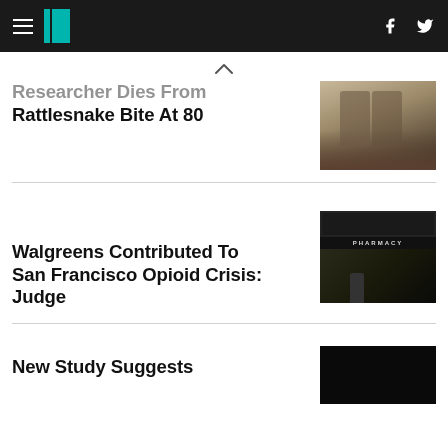HuffPost navigation with hamburger menu, logo, Facebook and Twitter icons
Researcher Dies From Rattlesnake Bite At 80
[Figure (photo): Photo of a person's legs and feet outdoors on rocky/dirt ground, wearing khaki pants and dark shoes]
Walgreens Contributed To San Francisco Opioid Crisis: Judge
[Figure (photo): Photo of a Walgreens pharmacy storefront with red cursive sign and pharmacy signage, person standing in front]
New Study Suggests
[Figure (photo): Dark/black photo, partially visible at bottom of page]